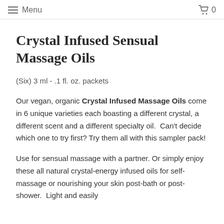Menu  0
Crystal Infused Sensual Massage Oils
(Six) 3 ml - .1 fl. oz. packets
Our vegan, organic Crystal Infused Massage Oils come in 6 unique varieties each boasting a different crystal, a different scent and a different specialty oil.  Can't decide which one to try first? Try them all with this sampler pack!
Use for sensual massage with a partner. Or simply enjoy these all natural crystal-energy infused oils for self-massage or nourishing your skin post-bath or post-shower.  Light and easily